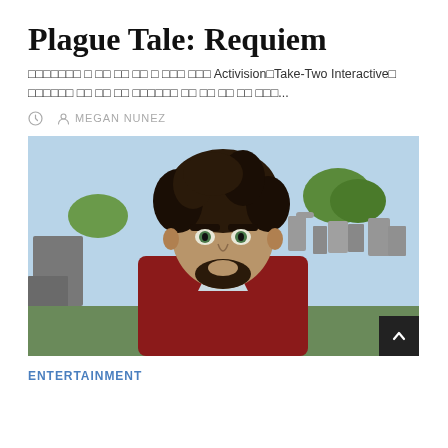Plague Tale: Requiem
□□□□□□□ □ □□ □□ □□ □ □□□ □□□ Activision□Take-Two Interactive□ □□□□□□ □□ □□ □□ □□□□□□ □□ □□ □□ □□ □□□...
MEGAN NUNEZ
[Figure (screenshot): Video game screenshot showing a male character with dark curly hair and beard wearing a red jacket and gold chain necklace, standing in front of a cemetery with gravestones and trees in the background.]
ENTERTAINMENT